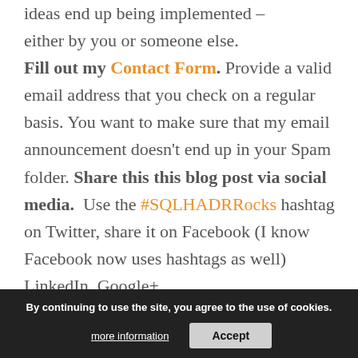ideas end up being implemented – either by you or someone else. Fill out my Contact Form. Provide a valid email address that you check on a regular basis. You want to make sure that my email announcement doesn't end up in your Spam folder. Share this this blog post via social media. Use the #SQLHADRRocks hashtag on Twitter, share it on Facebook (I know Facebook now uses hashtags as well) LinkedIn, Google+ Reddit, and anyth… can think of. Include at least one of the links in your comment below.
By continuing to use the site, you agree to the use of cookies. more information | Accept